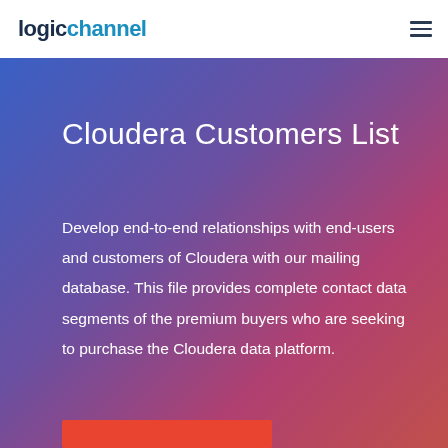logichannel
Cloudera Customers List
Develop end-to-end relationships with end-users and customers of Cloudera with our mailing database. This file provides complete contact data segments of the premium buyers who are seeking to purchase the Cloudera data platform.